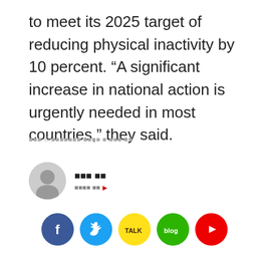to meet its 2025 target of reducing physical inactivity by 10 percent. “A significant increase in national action is urgently needed in most countries,” they said.
■■■ © ■■■■■■■ ■■■■ ■ ■■■ ■■
■■■ ■■
■■■■ ■■ ▶
[Figure (infographic): Social sharing buttons: Facebook (blue circle with f), Twitter (blue circle with bird), KakaoTalk (yellow circle with TALK), Naver Blog (green circle with blog), YouTube (red circle with play button)]